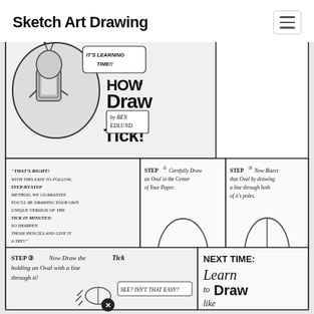Sketch Art Drawing
[Figure (illustration): Comic page showing 'How to Draw the Tick by Ben Edlund'. Top panel: The Tick holding a book with speech bubble 'It's Learning Time!!'. Title reads 'HOW to Draw the Tick!' by Ben Edlund. Step 1 panel: Carefully Draw an Oval in the Center of Your Paper (shows simple oval). Step 2 panel: Now Bisect that Oval by drawing a line through both of it's poles (shows oval with vertical line). Left panel text: 'That's right! With this easy to follow, Step-by-Step method, we guarantee you'll be drawing your own unique version of THE TICK in minutes! So sharpen those pencils and give it a try!!' with pencil illustration. Bottom left panel: Step 3 Now Draw the Tick holding an Oval with a line through it! SEE? ISN'T THAT EASY? (shows hand holding oval). Bottom right panel: NEXT TIME: Learn to Draw like...]